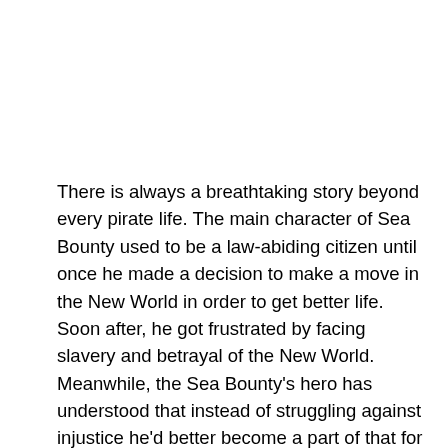There is always a breathtaking story beyond every pirate life. The main character of Sea Bounty used to be a law-abiding citizen until once he made a decision to make a move in the New World in order to get better life. Soon after, he got frustrated by facing slavery and betrayal of the New World. Meanwhile, the Sea Bounty's hero has understood that instead of struggling against injustice he'd better become a part of that for a while. So the wanderer ran off to Jamaica where he joined a pirate team that was given the right to attack Spanish ships by the rulers of their kingdom. The newly-made sea robber got surprised that most part of pirate life was not crazy nights in doubtful pubs of Jamaica and the Caribbean and songs about robberies and everyday sea living. According to Sea Bounty, the greatest part of successful sea wolves' life is economics and planning. Thus, the newly-made pirate decided to get under the